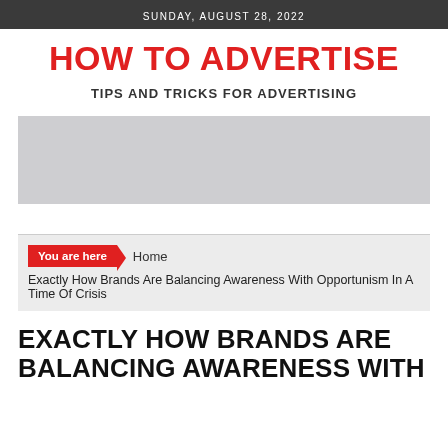SUNDAY, AUGUST 28, 2022
HOW TO ADVERTISE
TIPS AND TRICKS FOR ADVERTISING
[Figure (other): Advertisement placeholder banner (gray rectangle)]
You are here Home
Exactly How Brands Are Balancing Awareness With Opportunism In A Time Of Crisis
EXACTLY HOW BRANDS ARE BALANCING AWARENESS WITH